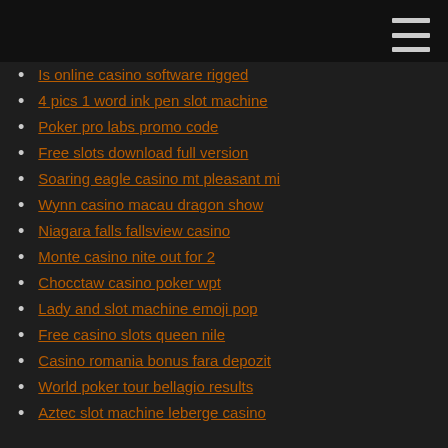Is online casino software rigged
4 pics 1 word ink pen slot machine
Poker pro labs promo code
Free slots download full version
Soaring eagle casino mt pleasant mi
Wynn casino macau dragon show
Niagara falls fallsview casino
Monte casino nite out for 2
Chocctaw casino poker wpt
Lady and slot machine emoji pop
Free casino slots queen nile
Casino romania bonus fara depozit
World poker tour bellagio results
Aztec slot machine leberge casino